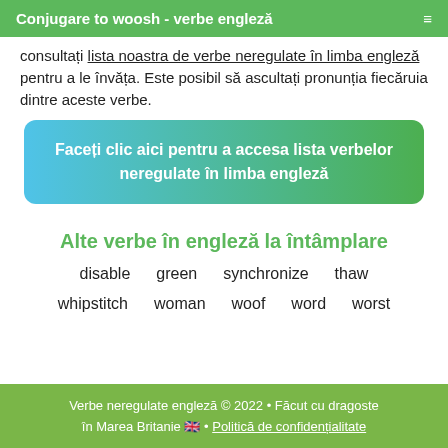Conjugare to woosh - verbe engleză
consultați lista noastra de verbe neregulate în limba engleză pentru a le învăța. Este posibil să ascultați pronunția fiecăruia dintre aceste verbe.
Faceți clic aici pentru a accesa lista verbelor neregulate în limba engleză
Alte verbe în engleză la întâmplare
disable
green
synchronize
thaw
whipstitch
woman
woof
word
worst
Verbe neregulate engleză © 2022 • Făcut cu dragoste în Marea Britanie 🇬🇧 • Politică de confidențialitate